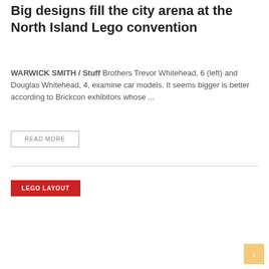Big designs fill the city arena at the North Island Lego convention
WARWICK SMITH / Stuff Brothers Trevor Whitehead, 6 (left) and Douglas Whitehead, 4, examine car models. It seems bigger is better according to Brickcon exhibitors whose ...
READ MORE
LEGO LAYOUT